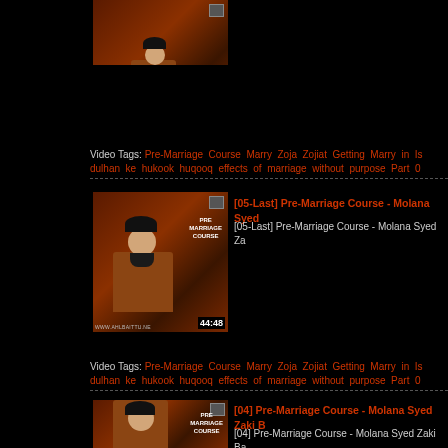[Figure (screenshot): Video thumbnail showing a cleric at a desk with 49:08 duration, partial view at top]
Video Tags: Pre-Marriage Course Marry Zoja Zojiat Getting Marry in Is... dulhan ke hukook huqooq effects of marriage without purpose Part 0...
[Figure (screenshot): Video thumbnail for [05-Last] Pre-Marriage Course with cleric and PRE MARRIAGE COURSE text, 44:48 duration]
[05-Last] Pre-Marriage Course - Molana Syed Z...
[05-Last] Pre-Marriage Course - Molana Syed Za...
Video Tags: Pre-Marriage Course Marry Zoja Zojiat Getting Marry in Is... dulhan ke hukook huqooq effects of marriage without purpose Part 0...
[Figure (screenshot): Video thumbnail for [04] Pre-Marriage Course with cleric and PRE MARRIAGE COURSE text, partial view]
[04] Pre-Marriage Course - Molana Syed Zaki B...
[04] Pre-Marriage Course - Molana Syed Zaki Ba...